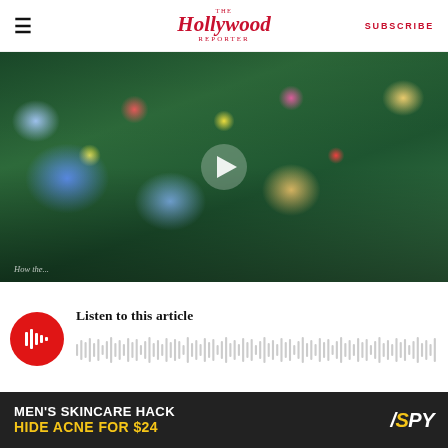The Hollywood Reporter — SUBSCRIBE
[Figure (photo): Group of young women lying on grass surrounded by colorful flowers, with a play button overlay indicating a video thumbnail. Partial caption text visible at bottom left.]
[Figure (infographic): Audio player widget with red circular play button showing soundbar icon, text 'Listen to this article', and an audio waveform visualization.]
Netflix is heading to the club.
[Figure (screenshot): Advertisement banner: MEN'S SKINCARE HACK / HIDE ACNE FOR $24 / SPY logo]